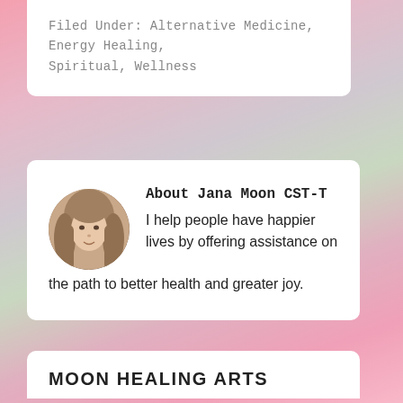Filed Under: Alternative Medicine, Energy Healing, Spiritual, Wellness
About Jana Moon CST-T
I help people have happier lives by offering assistance on the path to better health and greater joy.
MOON HEALING ARTS